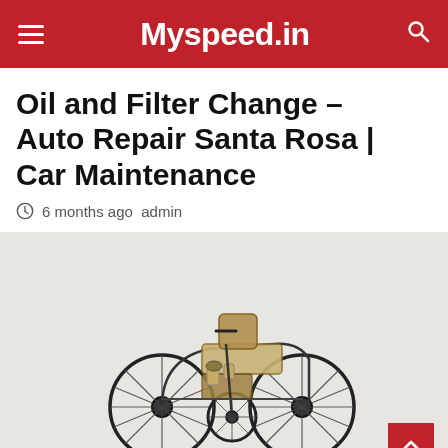Myspeed.in
Oil and Filter Change – Auto Repair Santa Rosa | Car Maintenance
6 months ago  admin
[Figure (photo): Antique three-wheeled automobile (likely Benz Patent-Motorwagen) on a light grey background, showing spoked wheels, brass engine components, and a rudimentary seat and steering mechanism.]